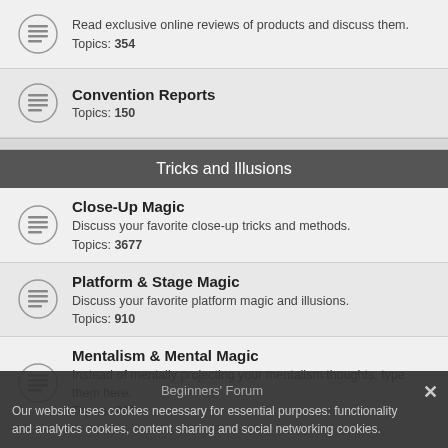Read exclusive online reviews of products and discuss them. Topics: 354
Convention Reports
Topics: 150
Tricks and Illusions
Close-Up Magic
Discuss your favorite close-up tricks and methods.
Topics: 3677
Platform & Stage Magic
Discuss your favorite platform magic and illusions.
Topics: 910
Mentalism & Mental Magic
Instead of mentally projecting your mentalism thoughts, type them here.
Topics: 941
Beginners' Forum
Our website uses cookies necessary for essential purposes: functionality and analytics cookies, content sharing and social networking cookies.